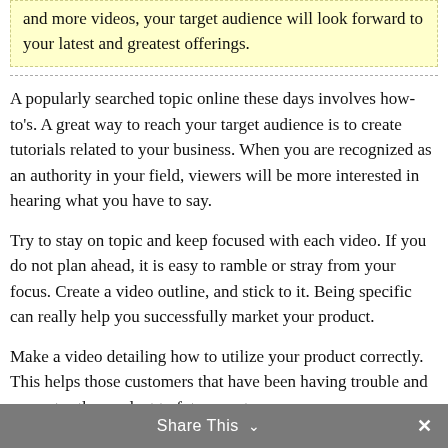and more videos, your target audience will look forward to your latest and greatest offerings.
A popularly searched topic online these days involves how-to's. A great way to reach your target audience is to create tutorials related to your business. When you are recognized as an authority in your field, viewers will be more interested in hearing what you have to say.
Try to stay on topic and keep focused with each video. If you do not plan ahead, it is easy to ramble or stray from your focus. Create a video outline, and stick to it. Being specific can really help you successfully market your product.
Make a video detailing how to utilize your product correctly. This helps those customers that have been having trouble and promotes the product to future customers.
Share This ∨  ✕